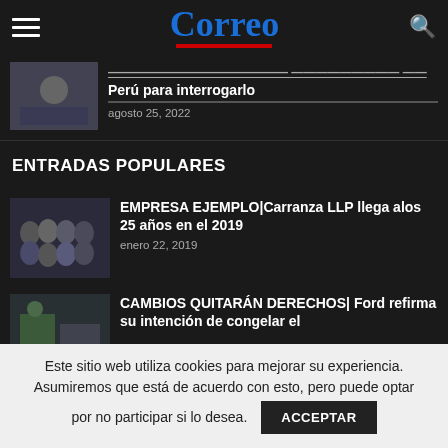Correo
Perú para interrogarlo
agosto 25, 2022
ENTRADAS POPULARES
EMPRESA EJEMPLO|Carranza LLP llega alos 25 años en el 2019
enero 22, 2019
CAMBIOS QUITARÁN DERECHOS| Ford refirma su intención de congelar el
Este sitio web utiliza cookies para mejorar su experiencia. Asumiremos que está de acuerdo con esto, pero puede optar por no participar si lo desea.
ACCEPTAR